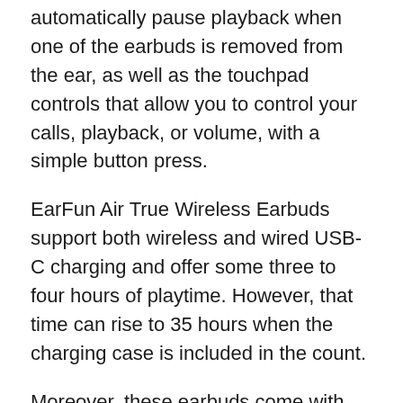automatically pause playback when one of the earbuds is removed from the ear, as well as the touchpad controls that allow you to control your calls, playback, or volume, with a simple button press.
EarFun Air True Wireless Earbuds support both wireless and wired USB-C charging and offer some three to four hours of playtime. However, that time can rise to 35 hours when the charging case is included in the count.
Moreover, these earbuds come with four ear tip sizes, which makes finding the perfect fit much easier. Also, there are four microphones (each earbud has two of them) that provide noise cancellation and bring an excellent voice call experience, as it should be the case with one of the best earbuds out there.